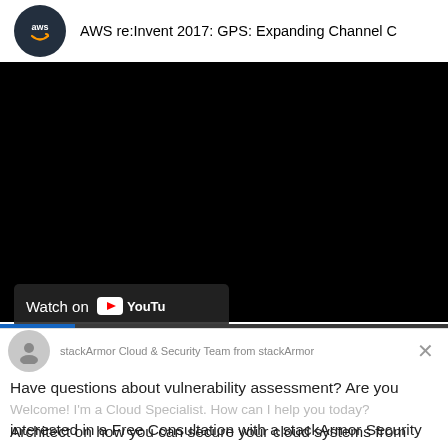[Figure (screenshot): YouTube embedded video player showing AWS re:Invent 2017: GPS: Expanding Channel C... with AWS logo in top-left, black video area, 'Watch on YouTube' button overlay, and a thin blue progress bar at the bottom of the video]
stackArmor Cloud & Security Team from stackArmor
Have questions about vulnerability assessment? Are you interested in a Free Consultation with a stackArmor Security
Welcome! I'm a Cloud Specialist. How can I help you today?
Architect on how you can secure your cloud systems from
Reply to stackArmor Cloud & Security Team